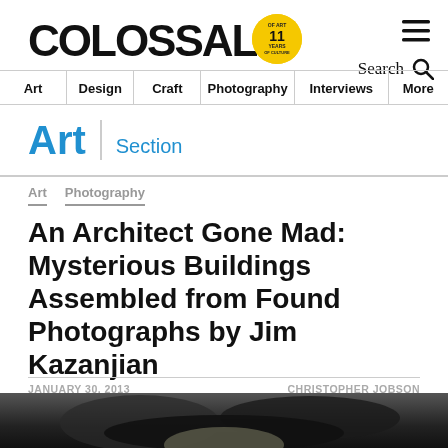COLOSSAL — 11 YEARS OF ART & CULTURE
Art | Section
Art  Photography
An Architect Gone Mad: Mysterious Buildings Assembled from Found Photographs by Jim Kazanjian
JANUARY 30, 2013   CHRISTOPHER JOBSON
[Figure (photo): Dark black and white photograph strip at bottom of page, partially visible, showing mysterious building imagery with glowing light effect]